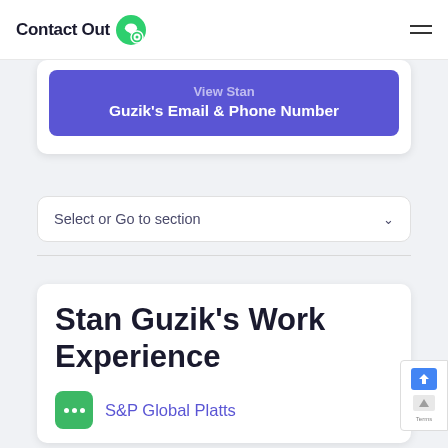ContactOut
View Stan Guzik's Email & Phone Number
Select or Go to section
Stan Guzik's Work Experience
S&P Global Platts